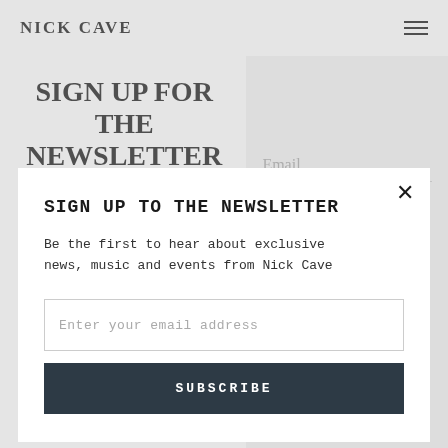NICK CAVE
SIGN UP FOR THE NEWSLETTER
Be the first to
Email
SIGN UP TO THE NEWSLETTER
Be the first to hear about exclusive news, music and events from Nick Cave
Enter your email address
SUBSCRIBE